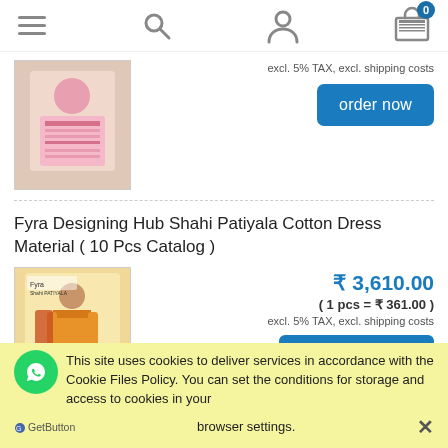Navigation bar with menu, search, user, and cart (0 items) icons
excl. 5% TAX, excl. shipping costs
[Figure (photo): Pink floral Indian dress material product photo]
order now
Fyra Designing Hub Shahi Patiyala Cotton Dress Material ( 10 Pcs Catalog )
[Figure (photo): Yellow/orange Indian salwar suit product photo with model]
₹ 3,610.00
( 1 pcs = ₹ 361.00 )
excl. 5% TAX, excl. shipping costs
This site uses cookies to deliver services in accordance with the Cookie Files Policy. You can set the conditions for storage and access to cookies in your browser settings.
GetButton